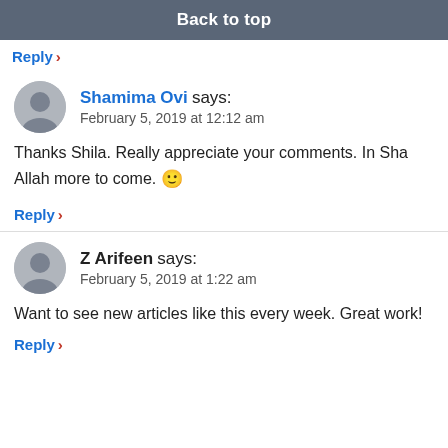many. 🖤
Back to top
Reply ›
Shamima Ovi says:
February 5, 2019 at 12:12 am
Thanks Shila. Really appreciate your comments. In Sha Allah more to come. 🙂
Reply ›
Z Arifeen says:
February 5, 2019 at 1:22 am
Want to see new articles like this every week. Great work!
Reply ›